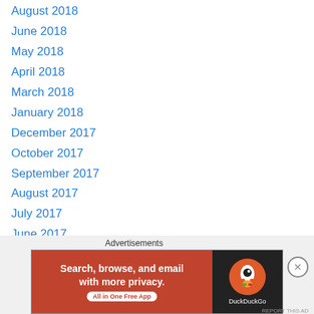August 2018
June 2018
May 2018
April 2018
March 2018
January 2018
December 2017
October 2017
September 2017
August 2017
July 2017
June 2017
May 2017
April 2017
March 2017
February 2017
January 2017
Advertisements
[Figure (other): DuckDuckGo advertisement banner: Search, browse, and email with more privacy. All in One Free App.]